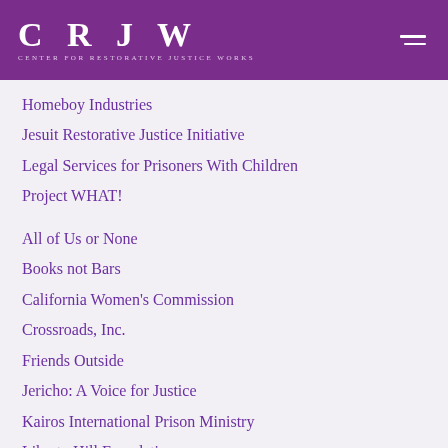CRJ W CENTER FOR RESTORATIVE JUSTICE WORKS
Homeboy Industries
Jesuit Restorative Justice Initiative
Legal Services for Prisoners With Children
Project WHAT!
All of Us or None
Books not Bars
California Women's Commission
Crossroads, Inc.
Friends Outside
Jericho: A Voice for Justice
Kairos International Prison Ministry
Liberty Hill Foundation